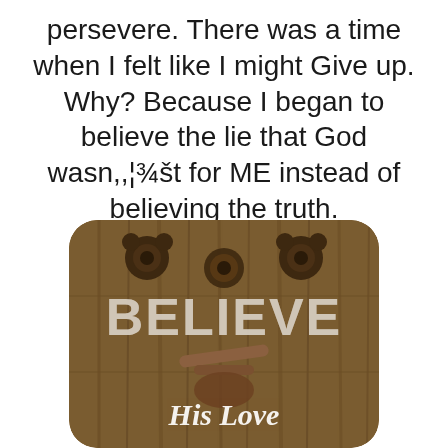persevere. There was a time when I felt like I might Give up. Why? Because I began to believe the lie that God wasn,,¦¾št for ME instead of believing the truth.
[Figure (photo): A rustic wooden background with iron door hardware/knocker. White distressed text reads 'BELIEVE' in large letters and 'His Love' in cursive script below.]